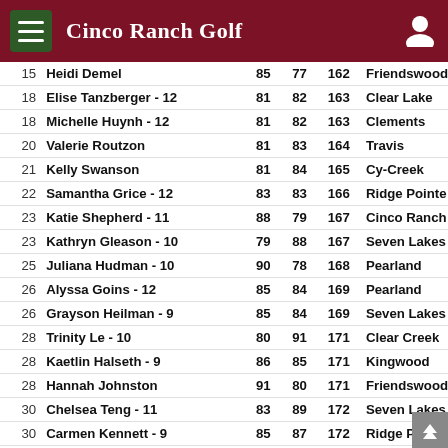Cinco Ranch Golf
| Rank | Name | R1 | R2 | Total | School |
| --- | --- | --- | --- | --- | --- |
| 15 | Heidi Demel | 85 | 77 | 162 | Friendswood |
| 18 | Elise Tanzberger - 12 | 81 | 82 | 163 | Clear Lake |
| 18 | Michelle Huynh - 12 | 81 | 82 | 163 | Clements |
| 20 | Valerie Routzon | 81 | 83 | 164 | Travis |
| 21 | Kelly Swanson | 81 | 84 | 165 | Cy-Creek |
| 22 | Samantha Grice - 12 | 83 | 83 | 166 | Ridge Pointe |
| 23 | Katie Shepherd - 11 | 88 | 79 | 167 | Cinco Ranch |
| 23 | Kathryn Gleason - 10 | 79 | 88 | 167 | Seven Lakes |
| 25 | Juliana Hudman - 10 | 90 | 78 | 168 | Pearland |
| 26 | Alyssa Goins - 12 | 85 | 84 | 169 | Pearland |
| 26 | Grayson Heilman - 9 | 85 | 84 | 169 | Seven Lakes |
| 28 | Trinity Le - 10 | 80 | 91 | 171 | Clear Creek |
| 28 | Kaetlin Halseth - 9 | 86 | 85 | 171 | Kingwood |
| 28 | Hannah Johnston | 91 | 80 | 171 | Friendswood |
| 30 | Chelsea Teng - 11 | 83 | 89 | 172 | Seven Lakes |
| 30 | Carmen Kennett - 9 | 85 | 87 | 172 | Ridge Pointe |
| 32 | Juliana Hickman - 11 | 89 | 84 | 173 | Clear Lake |
| 32 | Cole Johnson - 9 | 86 | 87 | 173 | Bellaire |
| 34 | Reese Ransom - 9 | 85 | 91 | 176 | Deer Park |
| 34 | Niccia Pollard | 90 | 87 | 177 | Westside |